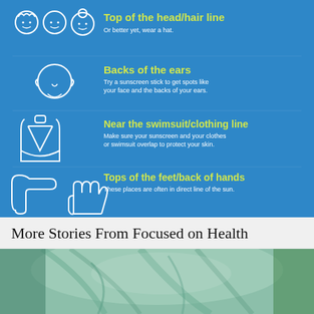[Figure (infographic): Blue infographic showing body areas to apply sunscreen: Top of the head/hair line (or better yet, wear a hat), Backs of the ears (Try a sunscreen stick to get spots like your face and the backs of your ears), Near the swimsuit/clothing line (Make sure your sunscreen and your clothes or swimsuit overlap to protect your skin), Tops of the feet/back of hands (These places are often in direct line of the sun). Each item has a white line-art icon of the relevant body part.]
More Stories From Focused on Health
[Figure (photo): Photo of a person wrapped in light teal/green fabric or clothing, with greenery visible on the right side.]